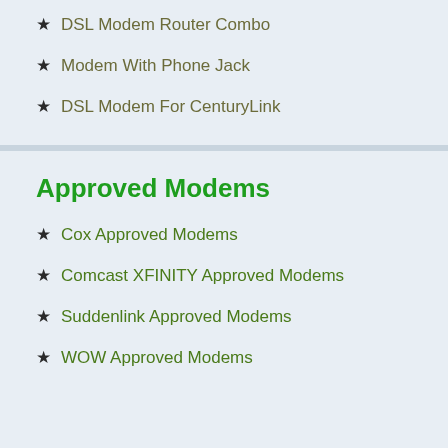DSL Modem Router Combo
Modem With Phone Jack
DSL Modem For CenturyLink
Approved Modems
Cox Approved Modems
Comcast XFINITY Approved Modems
Suddenlink Approved Modems
WOW Approved Modems